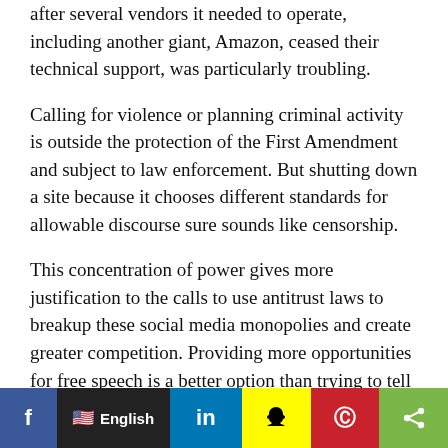after several vendors it needed to operate, including another giant, Amazon, ceased their technical support, was particularly troubling.
Calling for violence or planning criminal activity is outside the protection of the First Amendment and subject to law enforcement. But shutting down a site because it chooses different standards for allowable discourse sure sounds like censorship.
This concentration of power gives more justification to the calls to use antitrust laws to breakup these social media monopolies and create greater competition. Providing more opportunities for free speech is a better option than trying to tell private companies what they must allow or letting just a couple of social media voices dominate such an important public space.
[Figure (infographic): Social media sharing toolbar with Facebook, English language selector, LinkedIn, Snapchat, Pinterest, and Share buttons]